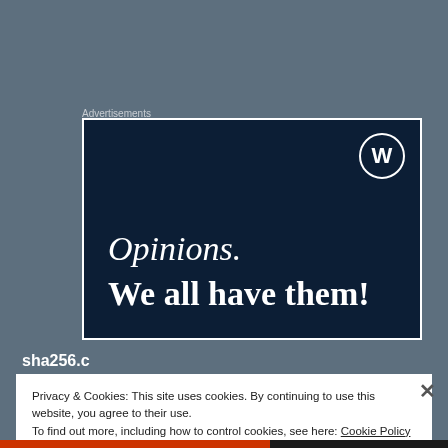Advertisements
[Figure (illustration): WordPress advertisement banner with dark navy background showing WordPress logo (circle W), text 'Opinions.' in italic serif font and 'We all have them!' in bold serif font, all in white on dark navy background.]
sha256.c
Privacy & Cookies: This site uses cookies. By continuing to use this website, you agree to their use.
To find out more, including how to control cookies, see here: Cookie Policy
Close and accept